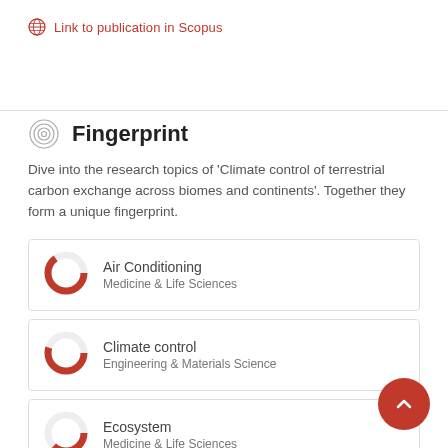Link to publication in Scopus
Fingerprint
Dive into the research topics of 'Climate control of terrestrial carbon exchange across biomes and continents'. Together they form a unique fingerprint.
Air Conditioning — Medicine & Life Sciences
Climate control — Engineering & Materials Science
Ecosystem — Medicine & Life Sciences